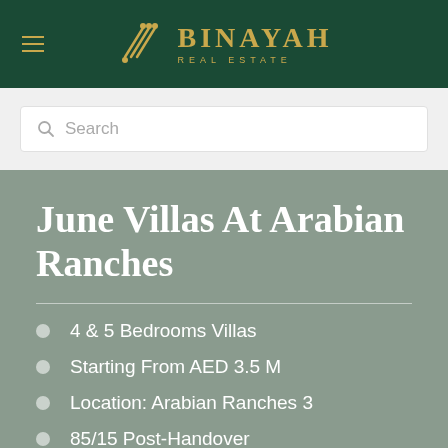[Figure (logo): Binayah Real Estate logo with stylized gold lines and text on dark green background]
Search
June Villas At Arabian Ranches
4 & 5 Bedrooms Villas
Starting From AED 3.5 M
Location: Arabian Ranches 3
85/15 Post-Handover
Compeletion date: Q1 – 2025
Down payment 10%